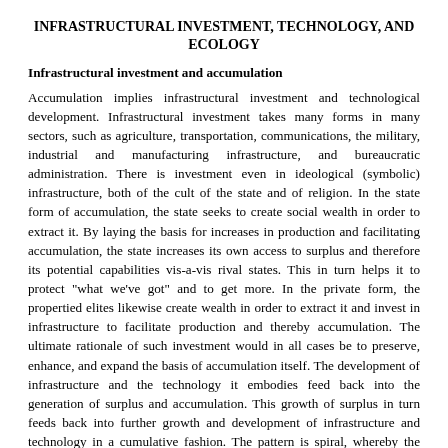INFRASTRUCTURAL INVESTMENT, TECHNOLOGY, AND ECOLOGY
Infrastructural investment and accumulation
Accumulation implies infrastructural investment and technological development. Infrastructural investment takes many forms in many sectors, such as agriculture, transportation, communications, the military, industrial and manufacturing infrastructure, and bureaucratic administration. There is investment even in ideological (symbolic) infrastructure, both of the cult of the state and of religion. In the state form of accumulation, the state seeks to create social wealth in order to extract it. By laying the basis for increases in production and facilitating accumulation, the state increases its own access to surplus and therefore its potential capabilities vis-a-vis rival states. This in turn helps it to protect "what we've got" and to get more. In the private form, the propertied elites likewise create wealth in order to extract it and invest in infrastructure to facilitate production and thereby accumulation. The ultimate rationale of such investment would in all cases be to preserve, enhance, and expand the basis of accumulation itself. The development of infrastructure and the technology it embodies feed back into the generation of surplus and accumulation. This growth of surplus in turn feeds back into further growth and development of infrastructure and technology in a cumulative fashion. The pattern is spiral, whereby the world system itself grows and becomes more firmly "established" via infrastructural investment and accumulation.
Technological innovation
Technological progress in techniques of production, organization, and trade, both military and civilian, has long played an important, and often neglected, role in the